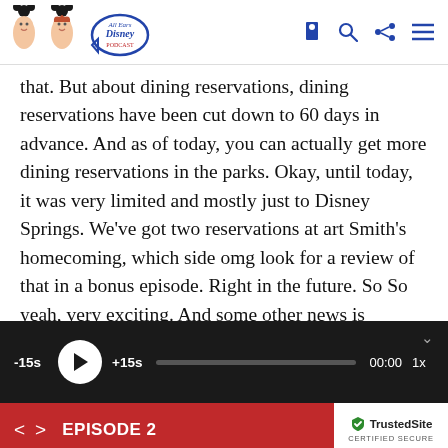All Ears Disney Podcast header with logo and navigation icons
that. But about dining reservations, dining reservations have been cut down to 60 days in advance. And as of today, you can actually get more dining reservations in the parks. Okay, until today, it was very limited and mostly just to Disney Springs. We've got two reservations at art Smith's homecoming, which side omg look for a review of that in a bonus episode. Right in the future. So So yeah, very exciting. And some other news is
[Figure (screenshot): Audio player bar with -15s, play button, +15s, progress bar showing 00:00, and 1x speed.]
EPISODE 2 | TrustedSite CERTIFIED SECURE